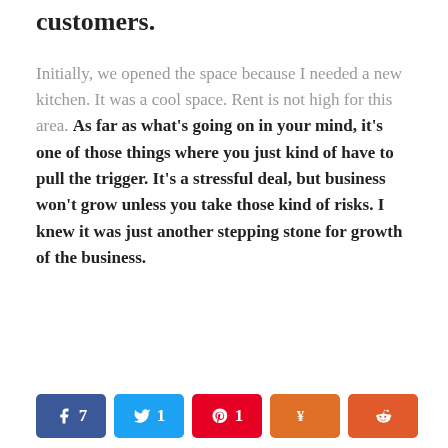customers.
Initially, we opened the space because I needed a new kitchen. It was a cool space. Rent is not high for this area. As far as what's going on in your mind, it's one of those things where you just kind of have to pull the trigger. It's a stressful deal, but business won't grow unless you take those kind of risks. I knew it was just another stepping stone for growth of the business.
[Figure (infographic): Social share buttons: Facebook (7), Twitter (1), Pinterest (1), Yummly, Reddit]